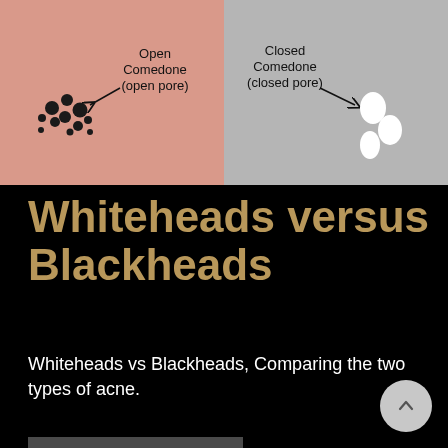[Figure (illustration): Diagram comparing Open Comedone (open pore / blackhead) on pink background on the left, showing cluster of dark dots with arrow, and Closed Comedone (closed pore / whitehead) on gray background on the right, showing white oval shapes with arrow.]
Whiteheads versus Blackheads
Whiteheads vs Blackheads, Comparing the two types of acne.
READ MORE